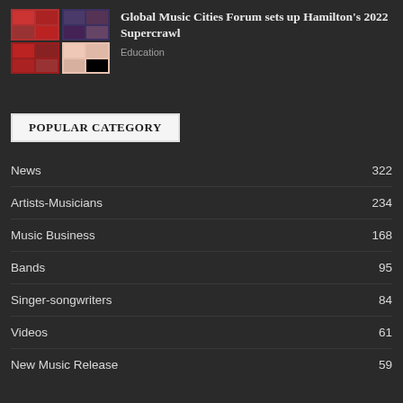[Figure (photo): Grid of four thumbnail images with red and pink tones]
Global Music Cities Forum sets up Hamilton's 2022 Supercrawl
Education
POPULAR CATEGORY
News 322
Artists-Musicians 234
Music Business 168
Bands 95
Singer-songwriters 84
Videos 61
New Music Release 59